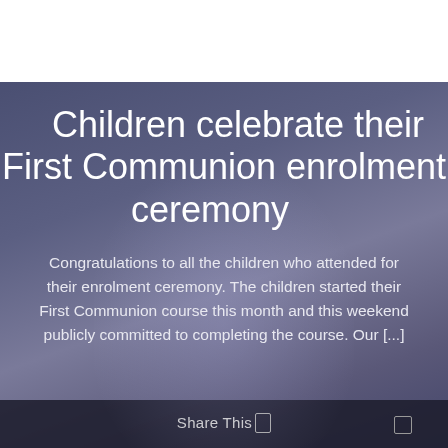[Figure (logo): Small church or school logo with red flower/cross icon and text lines below]
Children celebrate their First Communion enrolment ceremony
Congratulations to all the children who attended for their enrolment ceremony. The children started their First Communion course this month and this weekend publicly committed to completing the course. Our [...]
Share This